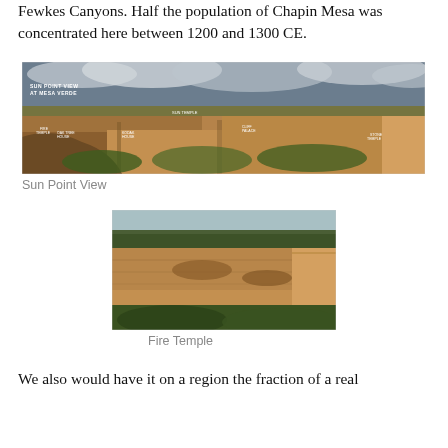Fewkes Canyons. Half the population of Chapin Mesa was concentrated here between 1200 and 1300 CE.
[Figure (photo): Panoramic view labeled 'Sun Point View at Mesa Verde' showing canyon walls with labeled structures including Sun Temple, Fire Temple, Oak Tree House, Kodak House, Cliff Palace, and Sentinel House]
Sun Point View
[Figure (photo): Photograph of Fire Temple area showing canyon cliffs with cliff dwellings and surrounding vegetation]
Fire Temple
We also would have it on a region the fraction of a real